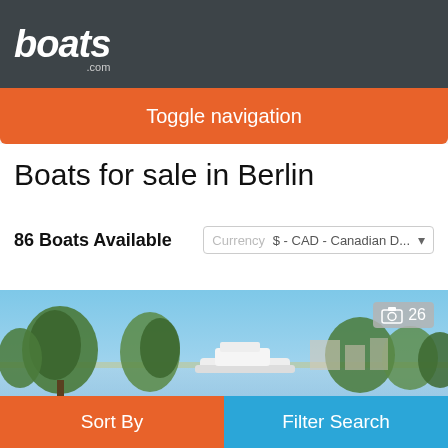boats.com
Toggle navigation
Boats for sale in Berlin
86 Boats Available   Currency $ - CAD - Canadian D... ▾
[Figure (photo): Aerial/waterfront photo showing boats and trees under a blue sky with a photo count badge showing 26]
Sort By   Filter Search